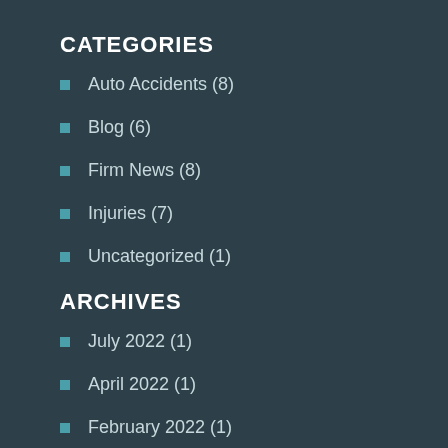CATEGORIES
Auto Accidents (8)
Blog (6)
Firm News (8)
Injuries (7)
Uncategorized (1)
ARCHIVES
July 2022 (1)
April 2022 (1)
February 2022 (1)